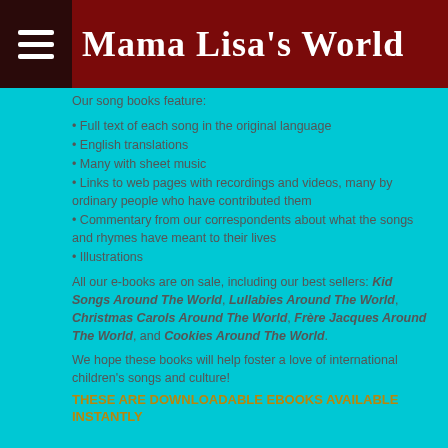Mama Lisa's World
Our song books feature:
• Full text of each song in the original language
• English translations
• Many with sheet music
• Links to web pages with recordings and videos, many by ordinary people who have contributed them
• Commentary from our correspondents about what the songs and rhymes have meant to their lives
• Illustrations
All our e-books are on sale, including our best sellers: Kid Songs Around The World, Lullabies Around The World, Christmas Carols Around The World, Frère Jacques Around The World, and Cookies Around The World.
We hope these books will help foster a love of international children's songs and culture!
THESE ARE DOWNLOADABLE EBOOKS AVAILABLE INSTANTLY